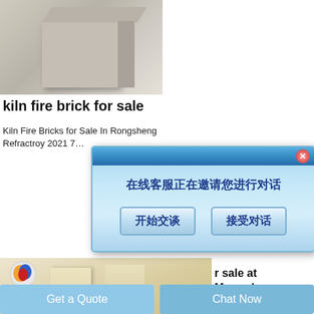[Figure (photo): Product photo of kiln fire bricks — two gray rectangular bricks stacked, shown against a light background]
kiln fire brick for sale
Kiln Fire Bricks for Sale In Rongsheng Refractroy 2021 7…
[Figure (screenshot): Chinese chat popup dialog — title bar with close button, message '在线客服正在邀请您进行对话', two buttons '开始交谈' and '接受对话']
[Figure (photo): Product photo of tall pale firebrick columns against a light background, with Rongsheng logo and brand name in lower left]
r sale at Menards
2021 7 10 Fire bricks for sale also called firebrick or shaped
[Figure (other): Get Price button with red border and red text]
Get a Quote
Chat Now